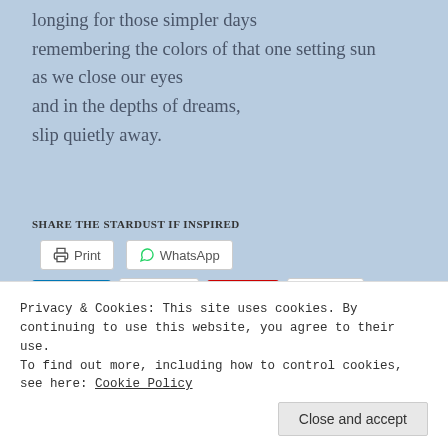longing for those simpler days
remembering the colors of that one setting sun
as we close our eyes
and in the depths of dreams,
slip quietly away.
SHARE THE STARDUST IF INSPIRED
[Figure (other): Social sharing buttons: Print, WhatsApp, LinkedIn Share, Email, Pinterest Save, More]
Privacy & Cookies: This site uses cookies. By continuing to use this website, you agree to their use.
To find out more, including how to control cookies, see here: Cookie Policy
Close and accept